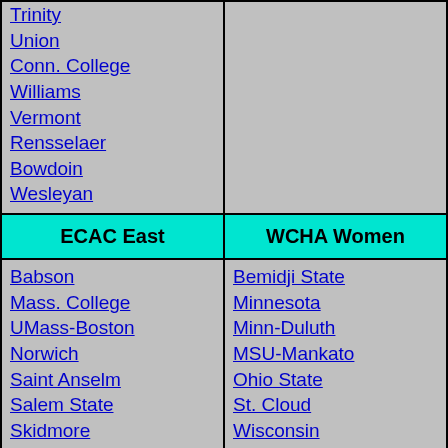Trinity
Union
Conn. College
Williams
Vermont
Rensselaer
Bowdoin
Wesleyan
ECAC East
WCHA Women
Babson
Mass. College
UMass-Boston
Norwich
Saint Anselm
Salem State
Skidmore
Southern Maine
N.E. College
Bemidji State
Minnesota
Minn-Duluth
MSU-Mankato
Ohio State
St. Cloud
Wisconsin
ECAC Northeast
NESCAC
Curry
Fitchburg
Framingham
Amherst
Bowdoin
Colby